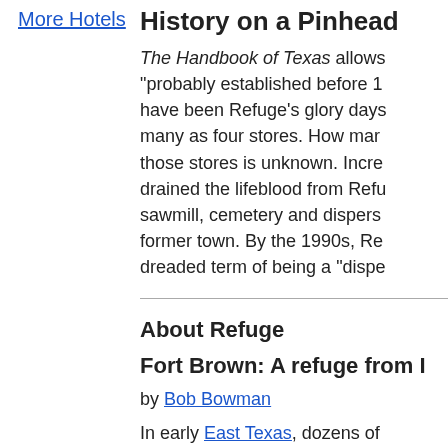More Hotels
History on a Pinhead
The Handbook of Texas allows "probably established before 1 have been Refuge's glory days many as four stores. How mar those stores is unknown. Incre drained the lifeblood from Refu sawmill, cemetery and dispers former town. By the 1990s, Re dreaded term of being a "dispe
About Refuge
Fort Brown: A refuge from I
by Bob Bowman
In early East Texas, dozens of to provide a safe and sturdy re